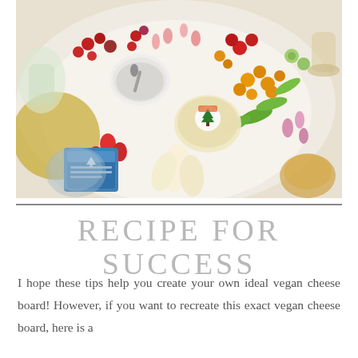[Figure (photo): Overhead view of a colorful vegan cheese board with fruits, vegetables, hummus, and vegan cheese products including cherries, tomatoes, radishes, snap peas, endive, and wine glasses]
RECIPE FOR SUCCESS
I hope these tips help you create your own ideal vegan cheese board! However, if you want to recreate this exact vegan cheese board, here is a